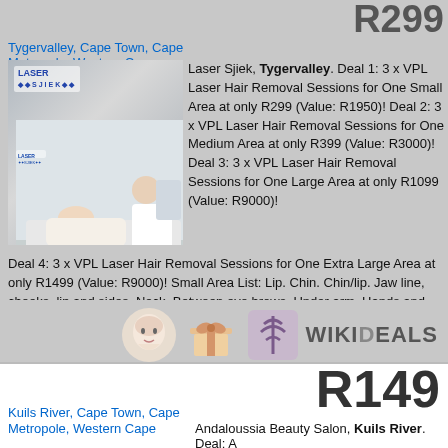R299
Tygervalley, Cape Town, Cape Metropole, Western Cape
[Figure (photo): Laser Sjiek clinic photo showing a laser hair removal treatment session with a technician treating a patient]
Laser Sjiek, Tygervalley. Deal 1: 3 x VPL Laser Hair Removal Sessions for One Small Area at only R299 (Value: R1950)! Deal 2: 3 x VPL Laser Hair Removal Sessions for One Medium Area at only R399 (Value: R3000)! Deal 3: 3 x VPL Laser Hair Removal Sessions for One Large Area at only R1099 (Value: R9000)! Deal 4: 3 x VPL Laser Hair Removal Sessions for One Extra Large Area at only R1499 (Value: R9000)! Small Area List: Lip. Chin. Chin/lip. Jaw line, cheeks, lip and sides. Neck. Between eye brows. Under arm. Hands and fingers. Nipples. Belly button strip. Stomach. Standard bikini. G-string bikini. Feet and toes. Medium Area List: Full face. Half arms. Between G-string and Brazilian. Full bum. Brazilian bikini. Full bikini (including between bum). Large Area List: Full arms. Half legs. Extra Large Area List: Full legs.
[Figure (illustration): WikiDeals icons: face mask, gift box, plant/spa icon, with WIKIDEALS branding text]
R149
Kuils River, Cape Town, Cape Metropole, Western Cape
Andaloussia Beauty Salon, Kuils River. Deal: A